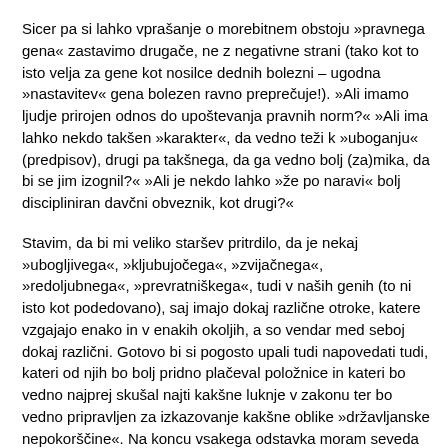Sicer pa si lahko vprašanje o morebitnem obstoju »pravnega gena« zastavimo drugače, ne z negativne strani (tako kot to isto velja za gene kot nosilce dednih bolezni – ugodna »nastavitev« gena bolezen ravno preprečuje!). »Ali imamo ljudje prirojen odnos do upoštevanja pravnih norm?« »Ali ima lahko nekdo takšen »karakter«, da vedno teži k »uboganju« (predpisov), drugi pa takšnega, da ga vedno bolj (za)mika, da bi se jim izognil?« »Ali je nekdo lahko »že po naravi« bolj discipliniran davčni obveznik, kot drugi?«
Stavim, da bi mi veliko staršev pritrdilo, da je nekaj »ubogljivega«, »kljubujočega«, »zvijačnega«, »redoljubnega«, »prevratniškega«, tudi v naših genih (to ni isto kot podedovano), saj imajo dokaj različne otroke, katere vzgajajo enako in v enakih okoljih, a so vendar med seboj dokaj različni. Gotovo bi si pogosto upali tudi napovedati tudi, kateri od njih bo bolj pridno plačeval položnice in kateri bo vedno najprej skušal najti kakšne luknje v zakonu ter bo vedno pripravljen za izkazovanje kakšne oblike »državljanske nepokorščine«. Na koncu vsakega odstavka moram seveda dodati tudi stavek: »Obstajajo pa seveda